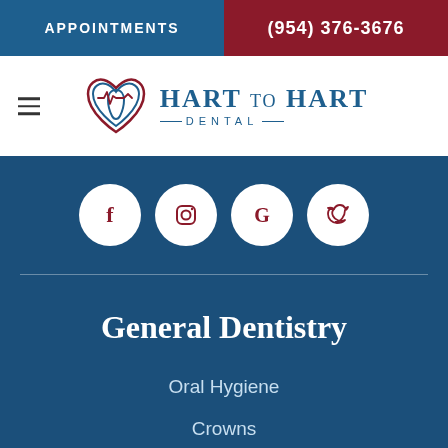APPOINTMENTS
(954) 376-3676
[Figure (logo): Hart to Hart Dental logo with heart/tooth graphic and text]
[Figure (infographic): Social media icons: Facebook, Instagram, Google, Twitter in white circles on dark blue background]
General Dentistry
Oral Hygiene
Crowns
Fillings & Inlays
Extractions